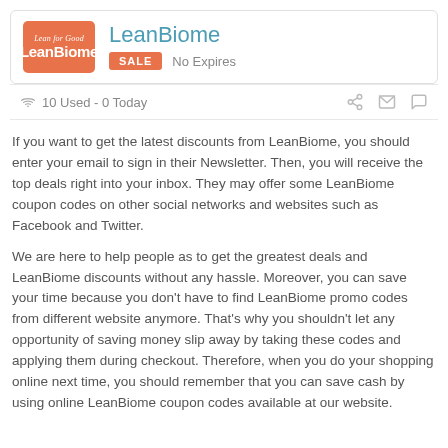[Figure (logo): LeanBiome logo: orange/salmon background with 'Lean for Good' italic text above 'LeanBiome' in white bold text]
LeanBiome
SALE   No Expires
10 Used - 0 Today
If you want to get the latest discounts from LeanBiome, you should enter your email to sign in their Newsletter. Then, you will receive the top deals right into your inbox. They may offer some LeanBiome coupon codes on other social networks and websites such as Facebook and Twitter.
We are here to help people as to get the greatest deals and LeanBiome discounts without any hassle. Moreover, you can save your time because you don't have to find LeanBiome promo codes from different website anymore. That's why you shouldn't let any opportunity of saving money slip away by taking these codes and applying them during checkout. Therefore, when you do your shopping online next time, you should remember that you can save cash by using online LeanBiome coupon codes available at our website.